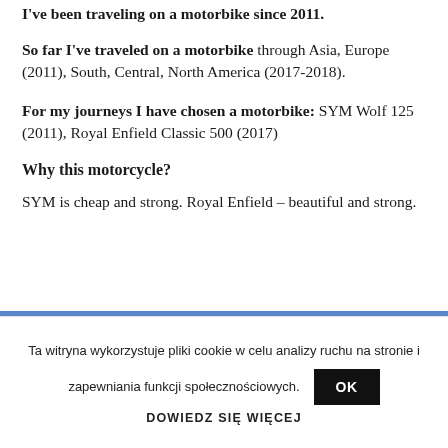I've been traveling on a motorbike since 2011.
So far I've traveled on a motorbike through Asia, Europe (2011), South, Central, North America (2017-2018).
For my journeys I have chosen a motorbike: SYM Wolf 125 (2011), Royal Enfield Classic 500 (2017)
Why this motorcycle?
SYM is cheap and strong. Royal Enfield – beautiful and strong.
Ta witryna wykorzystuje pliki cookie w celu analizy ruchu na stronie i zapewniania funkcji społecznościowych.
DOWIEDZ SIĘ WIĘCEJ